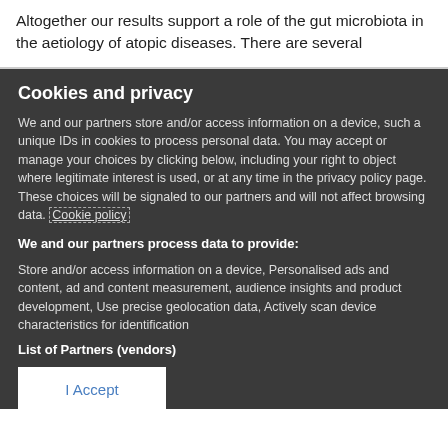Altogether our results support a role of the gut microbiota in the aetiology of atopic diseases. There are several
Cookies and privacy
We and our partners store and/or access information on a device, such a unique IDs in cookies to process personal data. You may accept or manage your choices by clicking below, including your right to object where legitimate interest is used, or at any time in the privacy policy page. These choices will be signaled to our partners and will not affect browsing data. Cookie policy
We and our partners process data to provide:
Store and/or access information on a device, Personalised ads and content, ad and content measurement, audience insights and product development, Use precise geolocation data, Actively scan device characteristics for identification
List of Partners (vendors)
I Accept